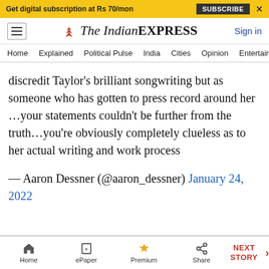Get digital subscription at Rs 70/mon   SUBSCRIBE   X
The Indian EXPRESS   Sign in
Home  Explained  Political Pulse  India  Cities  Opinion  Entertainment
discredit Taylor's brilliant songwriting but as someone who has gotten to press record around her …your statements couldn't be further from the truth…you're obviously completely clueless as to her actual writing and work process
— Aaron Dessner (@aaron_dessner) January 24, 2022
Home  ePaper  Premium  Share  NEXT STORY